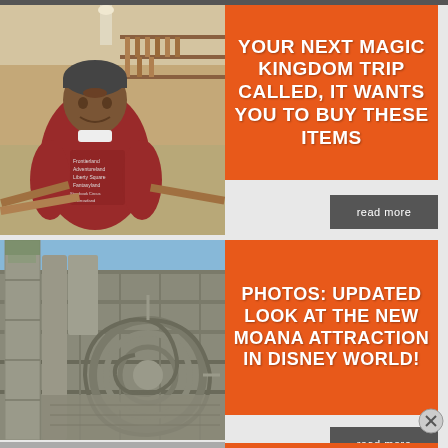[Figure (photo): Woman in red sweatshirt with Disney parks text, sitting in a woodworking/carpentry workshop surrounded by lumber]
YOUR NEXT MAGIC KINGDOM TRIP CALLED, IT WANTS YOU TO BUY THESE ITEMS
read more
[Figure (photo): Stone sculpture/artwork featuring a large spiral design on a textured concrete or stone wall, part of a Disney attraction being constructed]
PHOTOS: UPDATED LOOK AT THE NEW MOANA ATTRACTION IN DISNEY WORLD!
read more
[Figure (photo): Partial photo at bottom, cropped — beginning of a third article]
6 CRAZY RARE THINGS